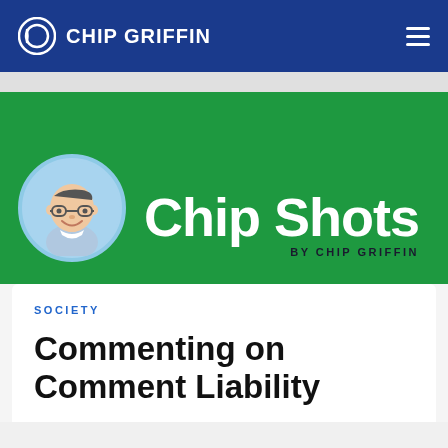CHIP GRIFFIN
[Figure (logo): Chip Shots by Chip Griffin newsletter banner with avatar of Chip Griffin (cartoon illustration) on a green background]
SOCIETY
Commenting on Comment Liability